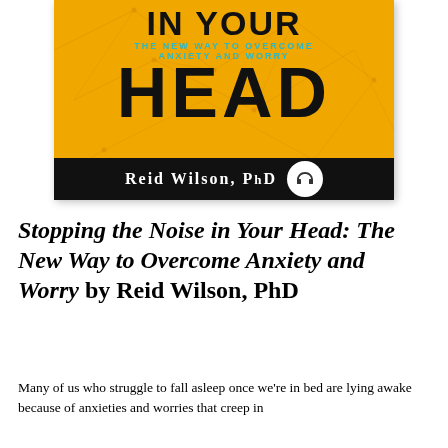[Figure (illustration): Book cover of 'Stopping the Noise in Your Head: The New Way to Overcome Anxiety and Worry' by Reid Wilson, PhD. Orange background with geometric network pattern, large bold text 'HEAD', author name on black bar with headphone icon.]
Stopping the Noise in Your Head: The New Way to Overcome Anxiety and Worry by Reid Wilson, PhD
Many of us who struggle to fall asleep once we're in bed are lying awake because of anxieties and worries that creep in